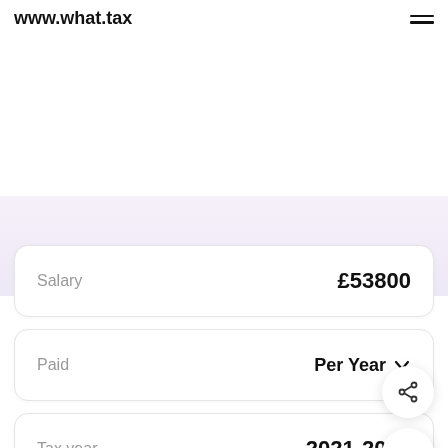www.what.tax
| Field | Value |
| --- | --- |
| Salary | £53800 |
| Paid | Per Year |
| Tax year | 2021-2022 |